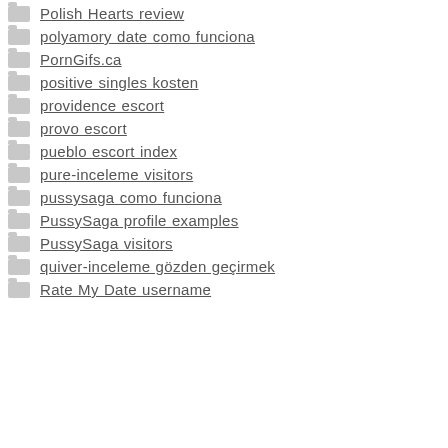Polish Hearts review
polyamory date como funciona
PornGifs.ca
positive singles kosten
providence escort
provo escort
pueblo escort index
pure-inceleme visitors
pussysaga como funciona
PussySaga profile examples
PussySaga visitors
quiver-inceleme gözden geçirmek
Rate My Date username